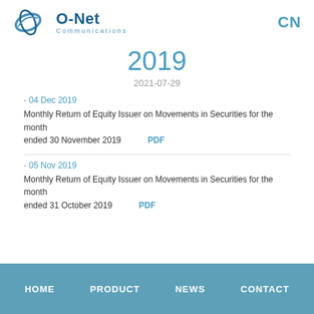[Figure (logo): O-Net Communications logo with stylized swoosh and blue text]
2019
2021-07-29
04 Dec 2019
Monthly Return of Equity Issuer on Movements in Securities for the month ended 30 November 2019    PDF
05 Nov 2019
Monthly Return of Equity Issuer on Movements in Securities for the month ended 31 October 2019    PDF
HOME    PRODUCT    NEWS    CONTACT